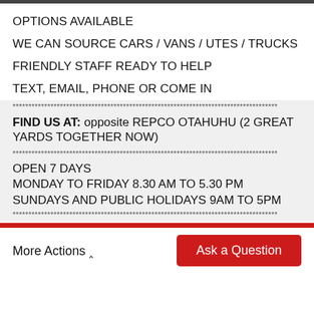OPTIONS AVAILABLE
WE CAN SOURCE CARS / VANS / UTES / TRUCKS
FRIENDLY STAFF READY TO HELP
TEXT, EMAIL, PHONE OR COME IN
************************************************************************************
FIND US AT: opposite REPCO OTAHUHU (2 GREAT YARDS TOGETHER NOW)
************************************************************************************
OPEN 7 DAYS
MONDAY TO FRIDAY 8.30 AM TO 5.30 PM
SUNDAYS AND PUBLIC HOLIDAYS 9AM TO 5PM
************************************************************************************
More Actions ▲
Ask a Question